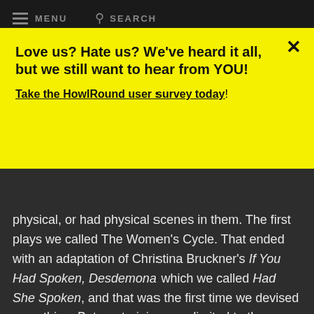MENU  SEARCH
Love us? Hate us? We've heard it all, but we still want to hear from YOU!
Take the HowlRound user survey today!
physical, or had physical scenes in them. The first plays we called The Women's Cycle. That ended with an adaptation of Christina Bruckner's If You Had Spoken, Desdemona which we called Had She Spoken, and that was the first time we devised something. But our training was limited to three-week periods when we would get a space, and training and rehearsal, then presenting. So we're talking about six total weeks twice a year right in the beginning. At some point it was like we have to have a space, and we got our space right